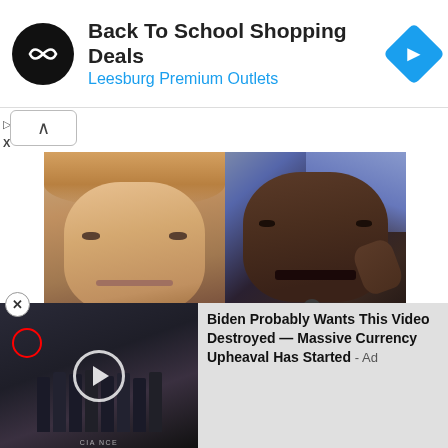[Figure (screenshot): Advertisement banner: circular black logo with infinity-like symbol, text 'Back To School Shopping Deals / Leesburg Premium Outlets', blue diamond navigation icon on right]
[Figure (photo): Two side-by-side portrait photos: left shows Donald Trump, right shows Ben Carson speaking at a microphone]
Ben Carsons Breakthrough Discovery Has Trump Worried...
[Figure (screenshot): Bottom overlay ad showing group of men standing (CIA-style setting) with play button circle and red circle marker, text: 'Biden Probably Wants This Video Destroyed — Massive Currency Upheaval Has Started - Ad']